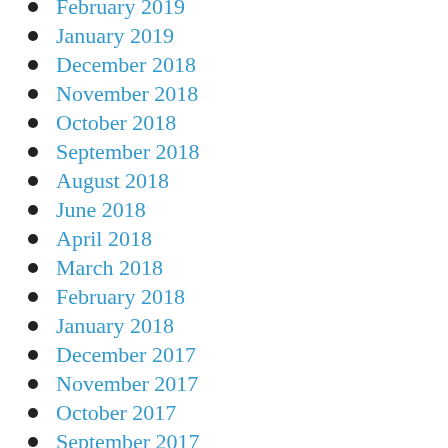February 2019
January 2019
December 2018
November 2018
October 2018
September 2018
August 2018
June 2018
April 2018
March 2018
February 2018
January 2018
December 2017
November 2017
October 2017
September 2017
August 2017